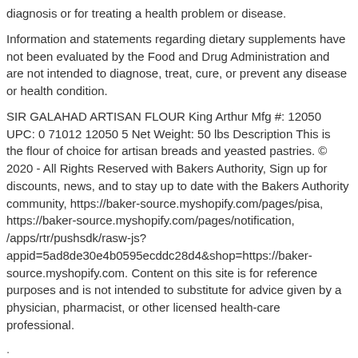diagnosis or for treating a health problem or disease.
Information and statements regarding dietary supplements have not been evaluated by the Food and Drug Administration and are not intended to diagnose, treat, cure, or prevent any disease or health condition.
SIR GALAHAD ARTISAN FLOUR King Arthur Mfg #: 12050 UPC: 0 71012 12050 5 Net Weight: 50 lbs Description This is the flour of choice for artisan breads and yeasted pastries. © 2020 - All Rights Reserved with Bakers Authority, Sign up for discounts, news, and to stay up to date with the Bakers Authority community, https://baker-source.myshopify.com/pages/pisa, https://baker-source.myshopify.com/pages/notification, /apps/rtr/pushsdk/rasw-js?appid=5ad8de30e4b0595ecddc28d4&shop=https://baker-source.myshopify.com. Content on this site is for reference purposes and is not intended to substitute for advice given by a physician, pharmacist, or other licensed health-care professional.
.